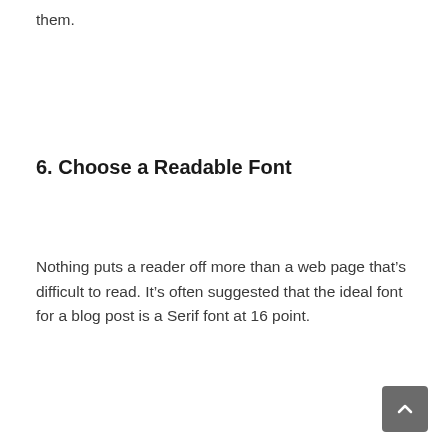them.
6. Choose a Readable Font
Nothing puts a reader off more than a web page that’s difficult to read. It’s often suggested that the ideal font for a blog post is a Serif font at 16 point.
7. Use Primary Keywords and Phrases
A primary keyword or keyphrase is the main word(s) that you want your content to rank for in search